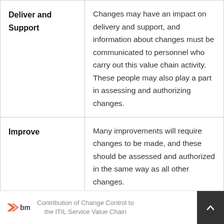| Activity | Description |
| --- | --- |
| Deliver and Support | Changes may have an impact on delivery and support, and information about changes must be communicated to personnel who carry out this value chain activity. These people may also play a part in assessing and authorizing changes. |
| Improve | Many improvements will require changes to be made, and these should be assessed and authorized in the same way as all other changes. |
Contribution of Change Control to the ITIL Service Value Chain